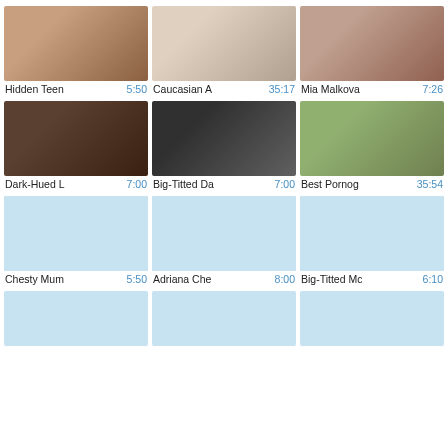[Figure (screenshot): Video thumbnail grid showing adult video thumbnails with titles and durations. Row 1: Hidden Teen 5:50, Caucasian A 35:17, Mia Malkova 7:26. Row 2: Dark-Hued L 7:00, Big-Titted Da 7:00, Best Pornog 35:54. Row 3: Chesty Mum 5:50, Adriana Che 8:00, Big-Titted Mc 6:10. Row 4: three placeholder thumbnails (partial).]